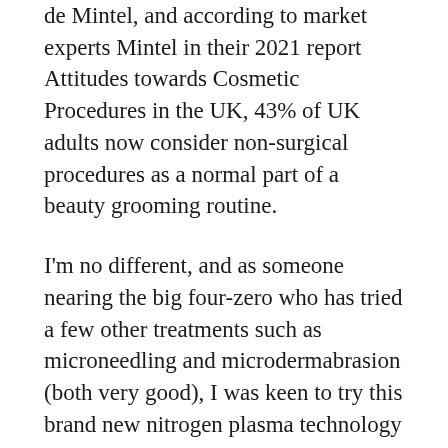de Mintel, and according to market experts Mintel in their 2021 report Attitudes towards Cosmetic Procedures in the UK, 43% of UK adults now consider non-surgical procedures as a normal part of a beauty grooming routine.
I'm no different, and as someone nearing the big four-zero who has tried a few other treatments such as microneedling and microdermabrasion (both very good), I was keen to try this brand new nitrogen plasma technology to see how it compared. As with all most procedures, much of it is in the hands of the skin care